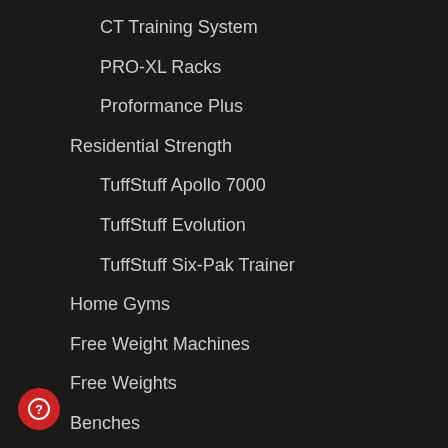CT Training System
PRO-XL Racks
Proformance Plus
Residential Strength
TuffStuff Apollo 7000
TuffStuff Evolution
TuffStuff Six-Pak Trainer
Home Gyms
Free Weight Machines
Free Weights
Benches
Functional Trainers
Weight Storage & Racks
Selectorized
Commercial Fitness